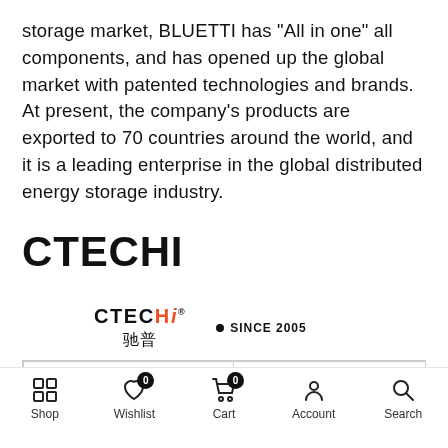storage market, BLUETTI has "All in one" all components, and has opened up the global market with patented technologies and brands. At present, the company's products are exported to 70 countries around the world, and it is a leading enterprise in the global distributed energy storage industry.
CTECHI
[Figure (logo): CTECHi logo with Chinese characters 驰普 and text SINCE 2005]
| Established time | June 3, 2015 |
Shop | Wishlist 0 | Cart 0 | Account | Search